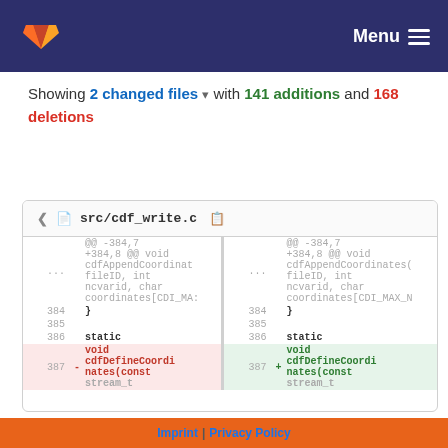GitLab — Menu
Showing 2 changed files with 141 additions and 168 deletions
| line_old | sign | code_old | line_new | sign | code_new |
| --- | --- | --- | --- | --- | --- |
| ... |  | @@ -384,7 +384,8 @@ void cdfAppendCoordinat fileID, int ncvarid, char coordinates[CDI_MA: | ... |  | @@ -384,7 +384,8 @@ void cdfAppendCoordinates( fileID, int ncvarid, char coordinates[CDI_MAX_N |
| 384 |  | } | 384 |  | } |
| 385 |  |  | 385 |  |  |
| 386 |  | static | 386 |  | static |
| 387 | - | void cdfDefineCoordi nates(const stream_t | 387 | + | void cdfDefineCoordi nates(const stream_t |
Imprint | Privacy Policy